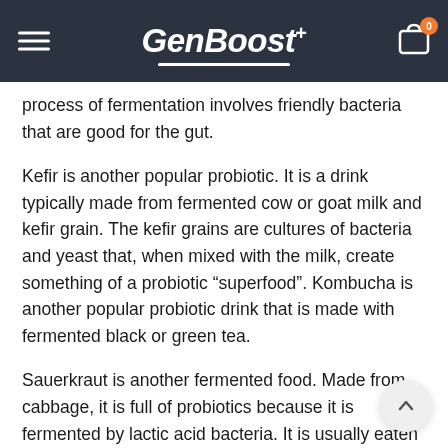GenBoost
process of fermentation involves friendly bacteria that are good for the gut.
Kefir is another popular probiotic. It is a drink typically made from fermented cow or goat milk and kefir grain. The kefir grains are cultures of bacteria and yeast that, when mixed with the milk, create something of a probiotic “superfood”. Kombucha is another popular probiotic drink that is made with fermented black or green tea.
Sauerkraut is another fermented food. Made from cabbage, it is full of probiotics because it is fermented by lactic acid bacteria. It is usually eaten as a side dish or on top of foods such as sausages or hamburgers. Kimchi